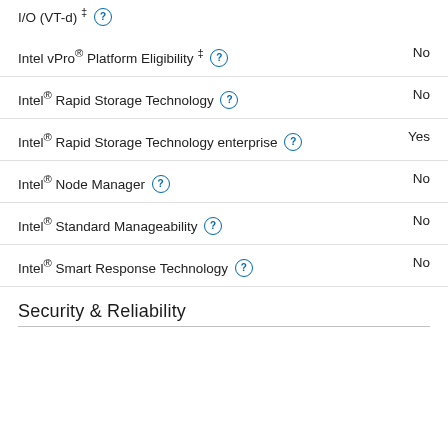I/O (VT-d) ‡ ? No
Intel vPro® Platform Eligibility ‡ ? No
Intel® Rapid Storage Technology ? No
Intel® Rapid Storage Technology enterprise ? Yes
Intel® Node Manager ? No
Intel® Standard Manageability ? No
Intel® Smart Response Technology ? No
Security & Reliability